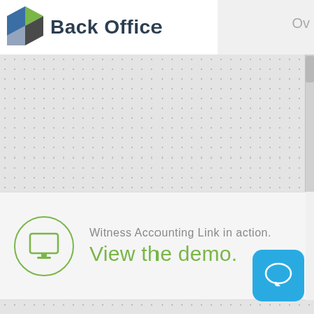[Figure (logo): Back Office logo with green and blue geometric cube icon and 'Back Office' text in dark blue/gray]
Ov
[Figure (screenshot): Gray dotted background mid-section of a web page]
Witness Accounting Link in action.
View the demo.
[Figure (illustration): Blue rounded-square chat bubble icon button in bottom right corner]